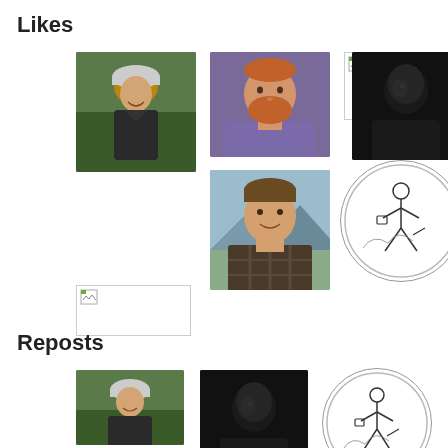Likes
[Figure (photo): Profile photo: person wearing a bicycle helmet, outdoor background]
[Figure (photo): Profile photo: man with red beard wearing a purple shirt]
[Figure (photo): Broken/missing image placeholder]
[Figure (photo): Profile photo: person in dark/moody lighting, dark background]
[Figure (photo): Profile photo: man in plaid shirt, outdoor background]
[Figure (illustration): Circle avatar with stick figure illustration reading/writing]
[Figure (photo): Broken/missing image placeholder]
[Figure (photo): Broken/missing image placeholder]
Reposts
[Figure (photo): Profile photo: person wearing a bicycle helmet, outdoor background]
[Figure (photo): Profile photo: person in dark/moody lighting, dark background]
[Figure (illustration): Circle avatar with stick figure illustration reading/writing]